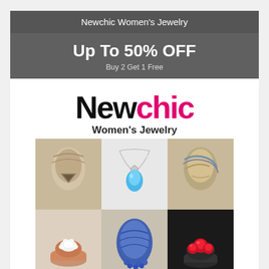Newchic Women's Jewelry
Up To 50% OFF
Buy 2 Get 1 Free
[Figure (logo): Newchic logo with 'New' in black and 'chic' in pink/magenta, followed by 'Women's Jewelry' subtitle and a 2x3 grid of jewelry product photos showing scarves, a blue gemstone necklace, rings, and a beaded necklace scarf]
Women's Accessories, Bags, Jewelry, Scarves, Hats